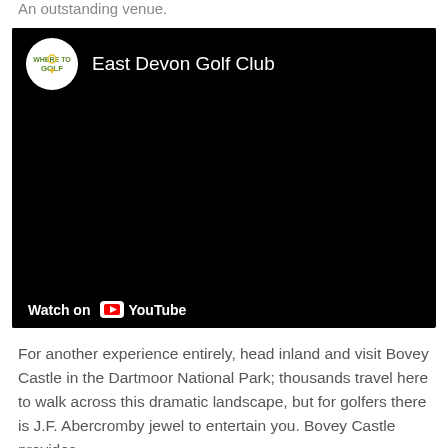An outstanding venue.
[Figure (screenshot): Embedded YouTube video player showing East Devon Golf Club channel. Black video area with channel logo (Where to Golf circular logo) and channel name 'East Devon Golf Club' at top. 'Watch on YouTube' button at bottom left.]
For another experience entirely, head inland and visit Bovey Castle in the Dartmoor National Park; thousands travel here to walk across this dramatic landscape, but for golfers there is J.F. Abercromby jewel to entertain you. Bovey Castle provides